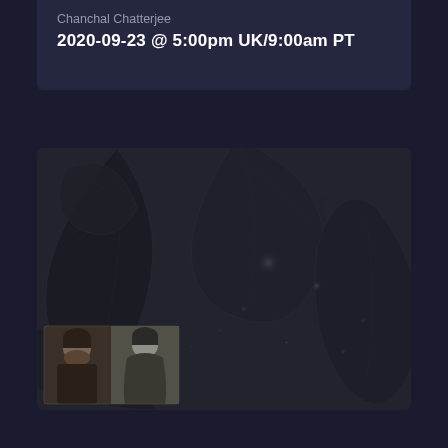Chanchal Chatterjee
2020-09-23 @ 5:00pm UK/9:00am PT
[Figure (photo): Dark moody black-and-white photo of leaves and bokeh background with two speaker headshots overlaid in the bottom-left corner]